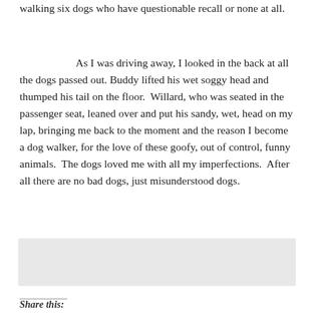walking six dogs who have questionable recall or none at all.
As I was driving away, I looked in the back at all the dogs passed out. Buddy lifted his wet soggy head and thumped his tail on the floor.  Willard, who was seated in the passenger seat, leaned over and put his sandy, wet, head on my lap, bringing me back to the moment and the reason I become a dog walker, for the love of these goofy, out of control, funny animals.  The dogs loved me with all my imperfections.  After all there are no bad dogs, just misunderstood dogs.
Share this: